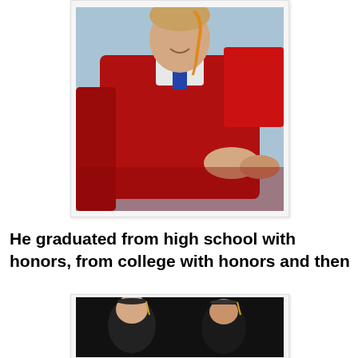[Figure (photo): A young man in a red graduation gown and orange graduation tassel shaking hands at a high school graduation ceremony. A red letter visible in background.]
He graduated from high school with honors, from college with honors and then
[Figure (photo): A person in dark graduation regalia including cap and gown, photographed against a dark background at what appears to be a college or university graduation.]